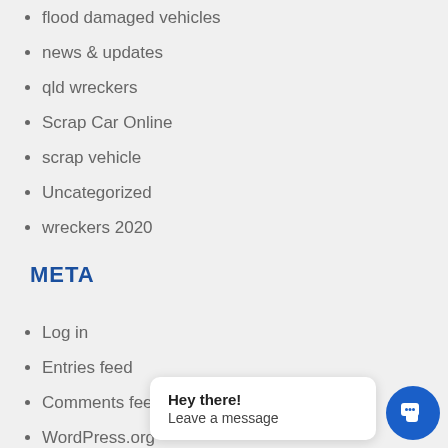flood damaged vehicles
news & updates
qld wreckers
Scrap Car Online
scrap vehicle
Uncategorized
wreckers 2020
META
Log in
Entries feed
Comments feed
WordPress.org
Hey there! Leave a message